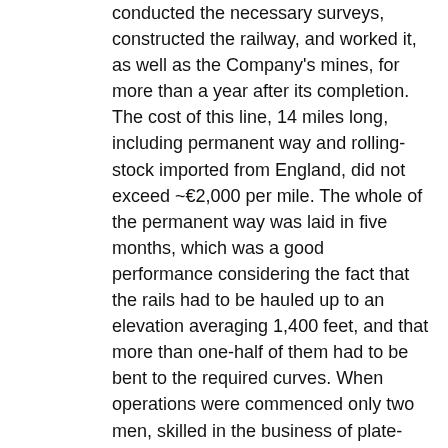conducted the necessary surveys, constructed the railway, and worked it, as well as the Company's mines, for more than a year after its completion. The cost of this line, 14 miles long, including permanent way and rolling-stock imported from England, did not exceed ~€2,000 per mile. The whole of the permanent way was laid in five months, which was a good performance considering the fact that the rails had to be hauled up to an elevation averaging 1,400 feet, and that more than one-half of them had to be bent to the required curves. When operations were commenced only two men, skilled in the business of plate-laying, were at hand, and others had to be taught as the work proceeded. This line fully answered the purpose for which it was intended, and during the first twelve months after its completion no less than 3,910 tons of ore were brought down to the port.
During Mr. Fitz-Gibbon's stay in New Zealand he wrote and published several Engineering Papers, including one on The Comparative Costs of Railways and Macadamized Roads," and another On a Description of